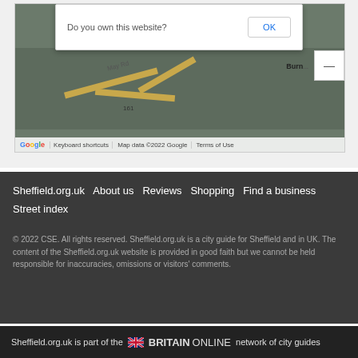[Figure (screenshot): Google Maps embed showing a map area with a 'Do you own this website? OK' dialog overlay, road network in muted green/tan colors, map attribution bar at bottom with Google logo, Keyboard shortcuts, Map data ©2022 Google, Terms of Use.]
Sheffield.org.uk   About us   Reviews   Shopping   Find a business
Street index
© 2022 CSE. All rights reserved. Sheffield.org.uk is a city guide for Sheffield and in UK. The content of the Sheffield.org.uk website is provided in good faith but we cannot be held responsible for inaccuracies, omissions or visitors' comments.
Sheffield.org.uk is part of the BRITAINONLINE network of city guides